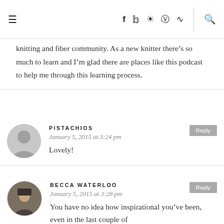≡  f  𝕥  ⊙  ⓟ  )))  🔍
knitting and fiber community. As a new knitter there's so much to learn and I'm glad there are places like this podcast to help me through this learning process.
PISTACHIOS
January 5, 2015 at 3:24 pm
Lovely!
BECCA WATERLOO
January 5, 2015 at 3:28 pm
You have no idea how inspirational you've been, even in the last couple of